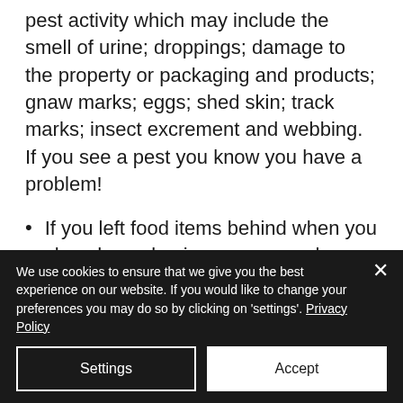pest activity which may include the smell of urine; droppings; damage to the property or packaging and products; gnaw marks; eggs; shed skin; track marks; insect excrement and webbing. If you see a pest you know you have a problem!
If you left food items behind when you closed your business you may have attracted pests even if food stuffs were in sealed
We use cookies to ensure that we give you the best experience on our website. If you would like to change your preferences you may do so by clicking on 'settings'. Privacy Policy